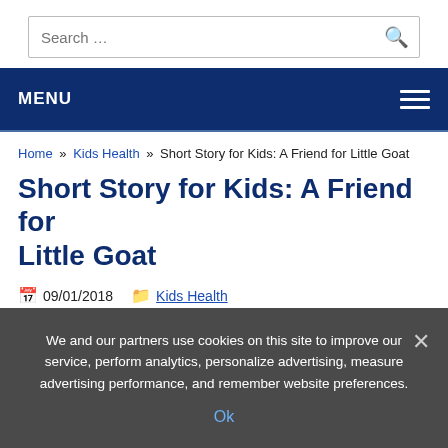Search ...
MENU
Home » Kids Health » Short Story for Kids: A Friend for Little Goat
Short Story for Kids: A Friend for Little Goat
09/01/2018   Kids Health
We and our partners use cookies on this site to improve our service, perform analytics, personalize advertising, measure advertising performance, and remember website preferences.
Ok